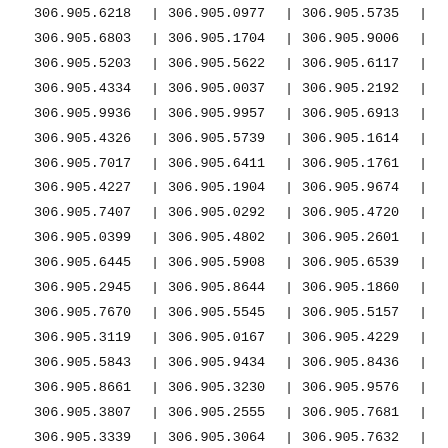| col1 | col2 | col3 |
| --- | --- | --- |
| 306.905.6218 | 306.905.0977 | 306.905.5735 |
| 306.905.6803 | 306.905.1704 | 306.905.9006 |
| 306.905.5203 | 306.905.5622 | 306.905.6117 |
| 306.905.4334 | 306.905.0037 | 306.905.2192 |
| 306.905.9936 | 306.905.9957 | 306.905.6913 |
| 306.905.4326 | 306.905.5739 | 306.905.1614 |
| 306.905.7017 | 306.905.6411 | 306.905.1761 |
| 306.905.4227 | 306.905.1904 | 306.905.9674 |
| 306.905.7407 | 306.905.0292 | 306.905.4720 |
| 306.905.0399 | 306.905.4802 | 306.905.2601 |
| 306.905.6445 | 306.905.5908 | 306.905.6539 |
| 306.905.2945 | 306.905.8644 | 306.905.1860 |
| 306.905.7670 | 306.905.5545 | 306.905.5157 |
| 306.905.3119 | 306.905.0167 | 306.905.4229 |
| 306.905.5843 | 306.905.9434 | 306.905.8436 |
| 306.905.8661 | 306.905.3230 | 306.905.9576 |
| 306.905.3807 | 306.905.2555 | 306.905.7681 |
| 306.905.3339 | 306.905.3064 | 306.905.7632 |
| 306.905.8509 | 306.905.2472 | 306.905.4846 |